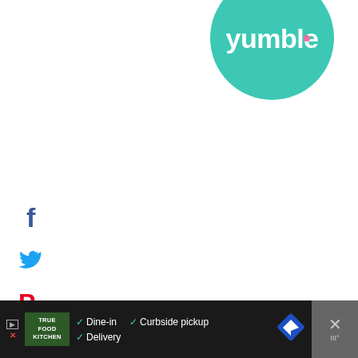[Figure (logo): Yumble logo: teal/mint green circle with white text 'yumble' where the 'e' has a pink/magenta accent dot]
[Figure (illustration): Facebook 'f' icon in blue on left social share sidebar]
[Figure (illustration): Twitter bird icon in blue on left social share sidebar]
[Figure (illustration): Pinterest 'P' icon in red on left social share sidebar]
[Figure (illustration): Yummly 'Yum' icon in orange on left social share sidebar]
0
SHARES
LEAVE A REPLY
Your email address will not be published. Required fields are marked *
Comment *
[Figure (illustration): Dark blue circular heart (like/save) button on right side, showing count 1 below]
[Figure (illustration): Share icon button (circular with plus) on right side]
[Figure (illustration): Bottom ad bar for True Food Kitchen showing Dine-in, Curbside pickup, Delivery options; right side has close X button and temperature icon]